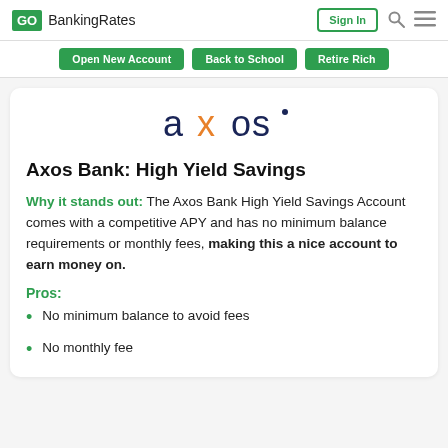GOBankingRates | Sign In
[Figure (logo): Axos Bank logo with stylized 'axos' text in dark navy, with an orange 'x']
Axos Bank: High Yield Savings
Why it stands out: The Axos Bank High Yield Savings Account comes with a competitive APY and has no minimum balance requirements or monthly fees, making this a nice account to earn money on.
Pros:
No minimum balance to avoid fees
No monthly fee